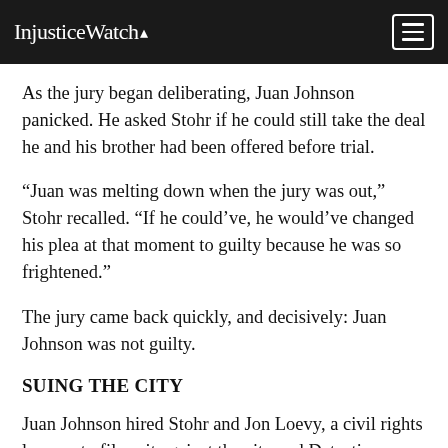InjusticeWatch
As the jury began deliberating, Juan Johnson panicked. He asked Stohr if he could still take the deal he and his brother had been offered before trial.
“Juan was melting down when the jury was out,” Stohr recalled. “If he could’ve, he would’ve changed his plea at that moment to guilty because he was so frightened.”
The jury came back quickly, and decisively: Juan Johnson was not guilty.
SUING THE CITY
Juan Johnson hired Stohr and Jon Loevy, a civil rights lawyer, to file suit against the city and Detective Guevara over his wrongful conviction. Once again, the attorneys called to the stand witnesses in a subsequent civil trial in U.S. District Court to testify that Guevara